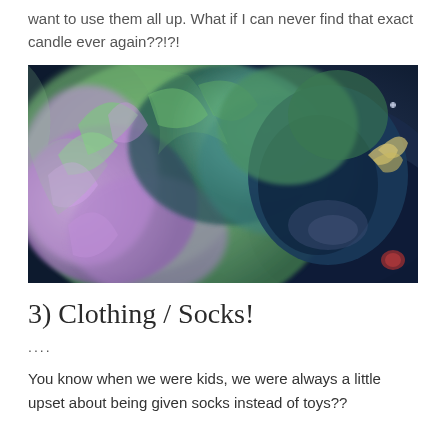want to use them all up. What if I can never find that exact candle ever again??!?!
[Figure (photo): Close-up photo of a furry monster character (resembling Sully from Monsters Inc.) with blue-green and purple fur, appearing to be looking downward. The image has a dark blue background.]
3) Clothing / Socks!
....
You know when we were kids, we were always a little upset about being given socks instead of toys??